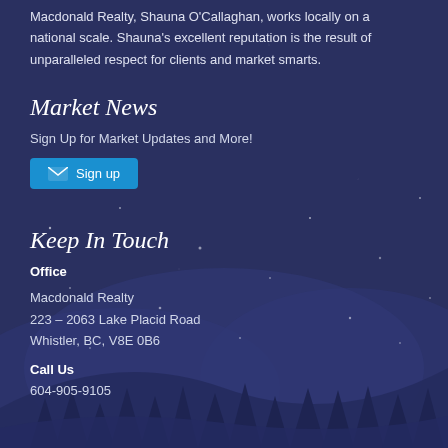Macdonald Realty, Shauna O'Callaghan, works locally on a national scale. Shauna's excellent reputation is the result of unparalleled respect for clients and market smarts.
Market News
Sign Up for Market Updates and More!
[Figure (other): Blue 'Sign up' button with envelope icon]
Keep In Touch
Office
Macdonald Realty
223 – 2063 Lake Placid Road
Whistler, BC, V8E 0B6
Call Us
604-905-9105